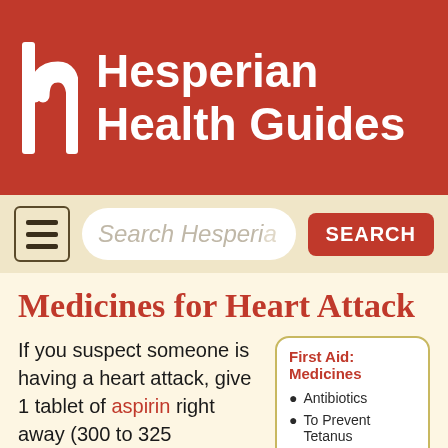Hesperian Health Guides
[Figure (logo): Hesperian Health Guides logo with stylized 'h' letter mark in white on red background and bold white text 'Hesperian Health Guides']
[Figure (screenshot): Search bar with hamburger menu icon, search input placeholder 'Search Hesperian' and red SEARCH button]
Medicines for Heart Attack
If you suspect someone is having a heart attack, give 1 tablet of aspirin right away (300 to 325
Antibiotics
To Prevent Tetanus